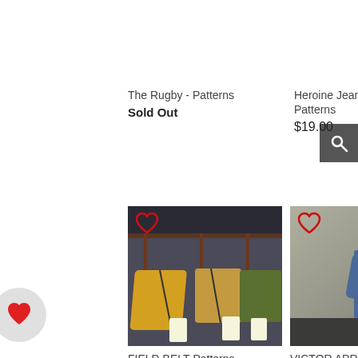The Rugby - Patterns
Sold Out
Heroine Jeans-Patterns
$19.00
[Figure (photo): Three small bags (yellow, tan, green) hanging on a dark rod with leather straps, displayed against a dark gray background. A heart icon appears in the top-left corner.]
FIELD BELT-Patterns
Sold Out
[Figure (photo): A woman wearing a denim shirt under a dark olive/khaki apron, standing against a neutral background. A heart icon appears in the top-left corner.]
VICTOR APRON-Patterns
$16.00